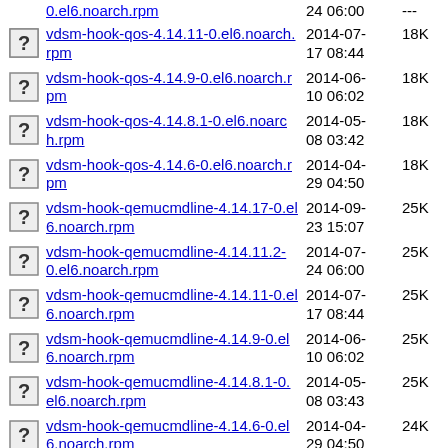0.el6.noarch.rpm | 24 06:00 | ---
vdsm-hook-qos-4.14.11-0.el6.noarch.rpm | 2014-07-17 08:44 | 18K
vdsm-hook-qos-4.14.9-0.el6.noarch.rpm | 2014-06-10 06:02 | 18K
vdsm-hook-qos-4.14.8.1-0.el6.noarch.rpm | 2014-05-08 03:42 | 18K
vdsm-hook-qos-4.14.6-0.el6.noarch.rpm | 2014-04-29 04:50 | 18K
vdsm-hook-qemucmdline-4.14.17-0.el6.noarch.rpm | 2014-09-23 15:07 | 25K
vdsm-hook-qemucmdline-4.14.11.2-0.el6.noarch.rpm | 2014-07-24 06:00 | 25K
vdsm-hook-qemucmdline-4.14.11-0.el6.noarch.rpm | 2014-07-17 08:44 | 25K
vdsm-hook-qemucmdline-4.14.9-0.el6.noarch.rpm | 2014-06-10 06:02 | 25K
vdsm-hook-qemucmdline-4.14.8.1-0.el6.noarch.rpm | 2014-05-08 03:43 | 25K
vdsm-hook-qemucmdline-4.14.6-0.el6.noarch.rpm | 2014-04-29 04:50 | 24K
vdsm-hook-promisc-4.14.17-0.el6.noarch.rpm | 2014-09-23 15:08 | 19K